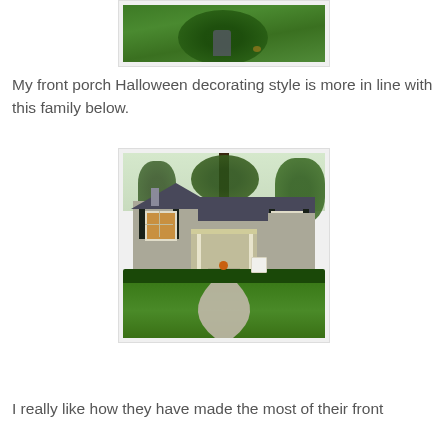[Figure (photo): Partial photo of a green lawn with dark shrubs/bushes and what appears to be a Halloween decoration (small gravestone) in the background, cropped at the top of the page.]
My front porch Halloween decorating style is more in line with this family below.
[Figure (photo): A gray/tan ranch-style house with dark shutters, a covered front porch with white columns, a winding concrete walkway through a well-manicured lawn with trimmed hedges, and large trees. Subtle Halloween decorations including a pumpkin are visible on the porch.]
I really like how they have made the most of their front